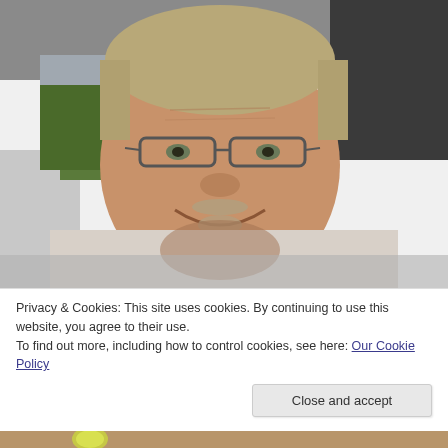[Figure (photo): A middle-aged man with glasses and grey/blonde hair smiling at the camera. He is sitting inside a car. The background shows trees and another car outside the window.]
Privacy & Cookies: This site uses cookies. By continuing to use this website, you agree to their use.
To find out more, including how to control cookies, see here: Our Cookie Policy
Close and accept
[Figure (photo): Partial view of bottom image, showing what appears to be a tennis ball on a surface.]